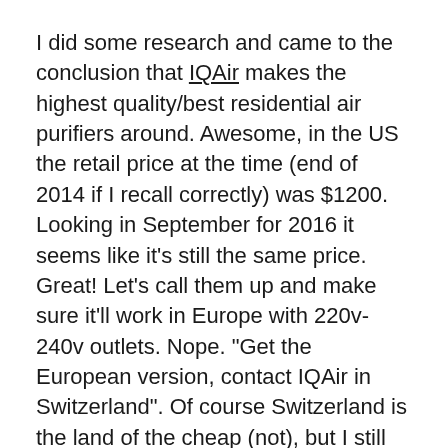I did some research and came to the conclusion that IQAir makes the highest quality/best residential air purifiers around. Awesome, in the US the retail price at the time (end of 2014 if I recall correctly) was $1200. Looking in September for 2016 it seems like it's still the same price. Great! Let's call them up and make sure it'll work in Europe with 220v-240v outlets. Nope. "Get the European version, contact IQAir in Switzerland". Of course Switzerland is the land of the cheap (not), but I still contacted them to see what it would cost. 1600 CHF. Pfft. Plus shipping, probably a couple hundred. I'll just buy the US version and use a transformer. That should be no problem right?
All the sellers warned against it. Nobody wanted to continue the warranty outside of North America. Plus, I had to transport it. Whatever. I'll give it a shot. I thought